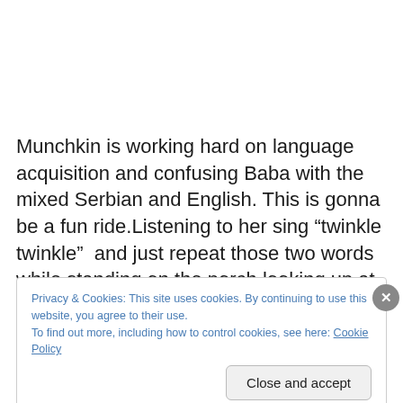Munchkin is working hard on language acquisition and confusing Baba with the mixed Serbian and English. This is gonna be a fun ride.Listening to her sing “twinkle twinkle”  and just repeat those two words while standing on the porch looking up at the sky. Then in her sweet little
Privacy & Cookies: This site uses cookies. By continuing to use this website, you agree to their use.
To find out more, including how to control cookies, see here: Cookie Policy
Close and accept